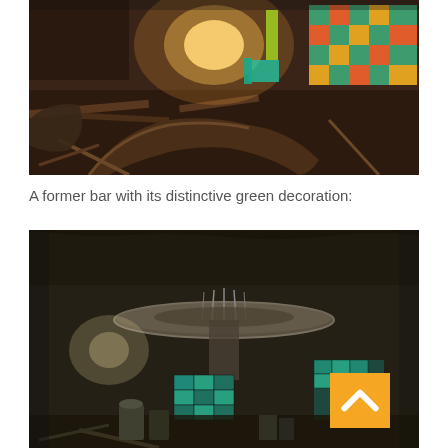[Figure (photo): Interior of an abandoned venue showing debris, broken furniture, colorful geometric patterned elements on the right, a curved sofa/seat structure, and scattered wooden beams with a bright light source in the background.]
A former bar with its distinctive green decoration:
[Figure (photo): Interior of an abandoned bar with a distinctive circular/disc-shaped ceiling structure above a central bar area. Green teal mirrored tiles are visible on the bar front, with scattered debris and equipment on the floor. A yellow/orange scroll-to-top button overlay is visible in the bottom right.]